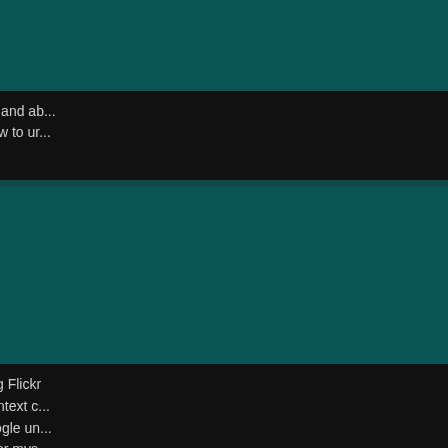DaMona
Re: How to: find damn near anything
<Reply # 65 on 5/19/2020 3:20 PM >
I am currently searching google and have been out and about and found some spots nothing big, just houses. I am new to ur... thread helps tremendously.
silenceofthebandos
location: Wilmington, MA
Re: How to: find damn near anything
<Reply # 66 on 7/15/2020 8:19 PM >
Thanks for the good tips! I've never thought of using Flickr out. I'm the type that'll sit there for hours piecing context c... and videos of a location and plugging them into google un... (some of the time), I'm probably creating my work for mys... thanks for the tips!
~Silenceoftheabandoned
https://silenceoftheabandoned.com/
UrbexGuy997653461
Re: How to: find damn near anything
<Reply # 67 on 1/5/2022 7:16 PM >
Posted by tv21